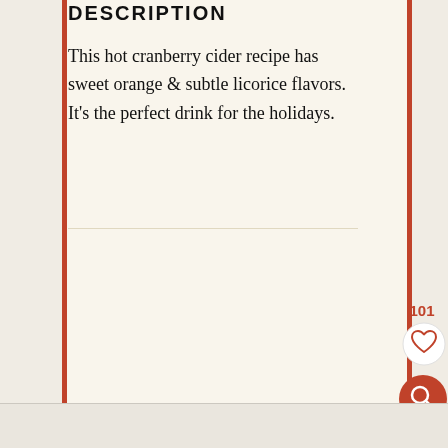DESCRIPTION
This hot cranberry cider recipe has sweet orange & subtle licorice flavors. It's the perfect drink for the holidays.